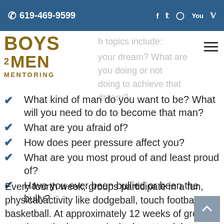619-469-9599
[Figure (logo): Boys to Men Mentoring logo with silhouette figure]
h topics include:
your dream? What are you doing or not doing to achieve that dream?
What kind of man do you want to be? What will you need to do to become that man?
What are you afraid of?
How does peer pressure affect you?
What are you most proud of and least proud of?
Have you ever been bullied or been the bully?
Every fourth week, groups participate in a fun, physical activity like dodgeball, touch football or basketball. At approximately 12 weeks of group meetings, the boys are invited to attend the Adventure Mountain Weekend. This powerful